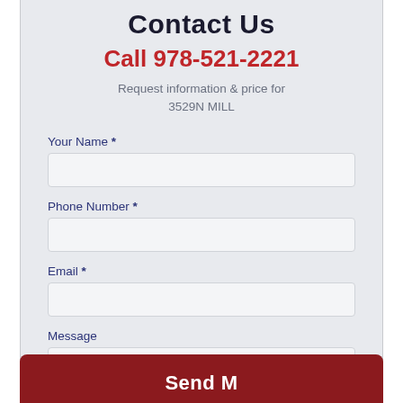Contact Us
Call 978-521-2221
Request information & price for
3529N MILL
Your Name *
Phone Number *
Email *
Message
Send M...